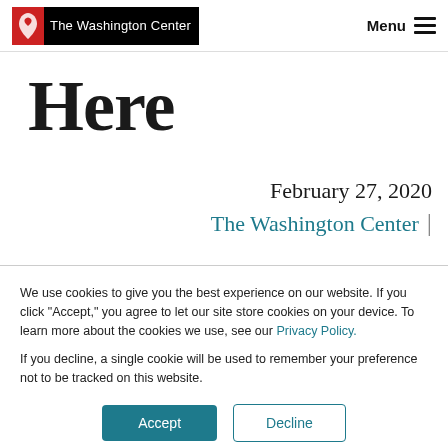The Washington Center | Menu
Here
February 27, 2020
The Washington Center |
We use cookies to give you the best experience on our website. If you click "Accept," you agree to let our site store cookies on your device. To learn more about the cookies we use, see our Privacy Policy.
If you decline, a single cookie will be used to remember your preference not to be tracked on this website.